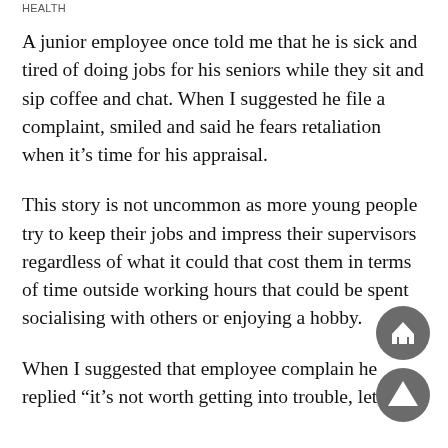HEALTH
A junior employee once told me that he is sick and tired of doing jobs for his seniors while they sit and sip coffee and chat. When I suggested he file a complaint, smiled and said he fears retaliation when it’s time for his appraisal.
This story is not uncommon as more young people try to keep their jobs and impress their supervisors regardless of what it could that cost them in terms of time outside working hours that could be spent socialising with others or enjoying a hobby.
When I suggested that employee complain he replied “it’s not worth getting into trouble, let me
[Figure (illustration): Home navigation button - circular dark grey icon with white house symbol]
[Figure (illustration): Up/back navigation button - circular dark grey icon with white upward triangle arrow]